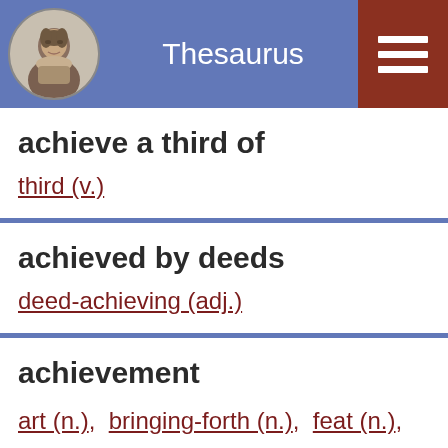Thesaurus
achieve a third of
third (v.)
achieved by deeds
deed-achieving (adj.)
achievement
art (n.),  bringing-forth (n.),  feat (n.),  preparation (n.),  trick (n.)